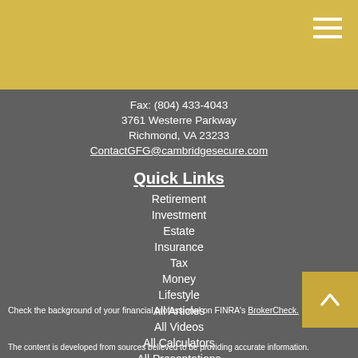Navigation menu header with gold background
Fax: (804) 433-4043
3761 Westerre Parkway
Richmond, VA 23233
ContactGFG@cambridgesecure.com
Quick Links
Retirement
Investment
Estate
Insurance
Tax
Money
Lifestyle
All Articles
All Videos
All Calculators
All Presentations
Check the background of your financial professional on FINRA's BrokerCheck.
The content is developed from sources believed to be providing accurate information.